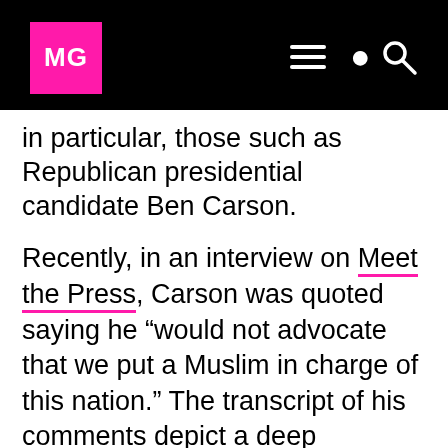[Figure (logo): MG logo in pink square on black header bar with hamburger menu and search icon]
in particular, those such as Republican presidential candidate Ben Carson.
Recently, in an interview on Meet the Press, Carson was quoted saying he “would not advocate that we put a Muslim in charge of this nation.” The transcript of his comments depict a deep misunderstanding of what it means to be Muslim, and what the true tenets of Islam truly are. However, more concerning than Carson’s belief that oppressing women and being intolerant are parts of a Muslim’s daily routine is